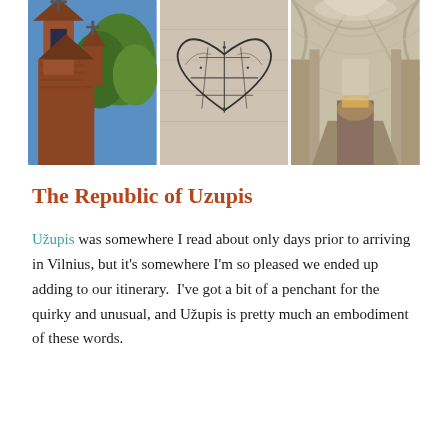[Figure (photo): Three side-by-side photos: a red-brick Gothic church tower with crosses and green trees against a blue sky; a wire/metal heart sculpture on a wall; the interior nave of a Gothic cathedral with white vaulted ceilings and ornate altar]
The Republic of Uzupis
Užupis was somewhere I read about only days prior to arriving in Vilnius, but it's somewhere I'm so pleased we ended up adding to our itinerary.  I've got a bit of a penchant for the quirky and unusual, and Užupis is pretty much an embodiment of these words.